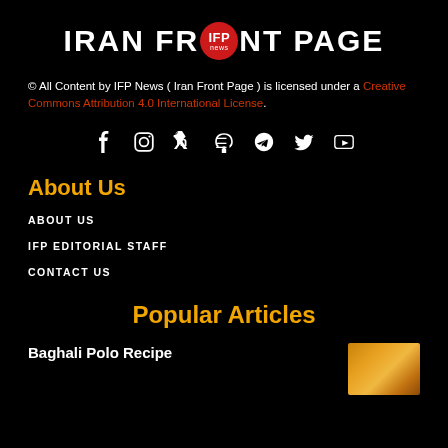[Figure (logo): Iran Front Page (IFP News) logo — white bold text with red circular badge in the 'O' position]
© All Content by IFP News ( Iran Front Page ) is licensed under a Creative Commons Attribution 4.0 International License.
[Figure (infographic): Social media icons row: Facebook, Instagram, LinkedIn, RSS, Telegram, Twitter/X, YouTube]
About Us
ABOUT US
IFP EDITORIAL STAFF
CONTACT US
Popular Articles
Baghali Polo Recipe
[Figure (photo): Thumbnail image of Baghali Polo food dish]